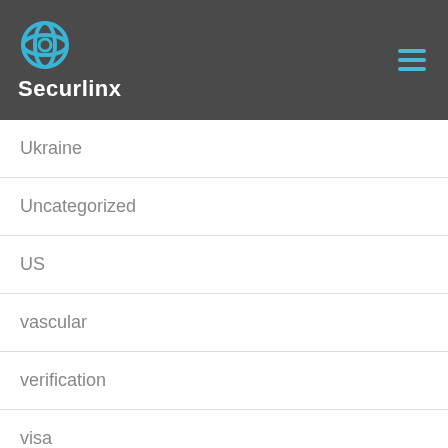Securlinx
Ukraine
Uncategorized
US
vascular
verification
visa
vote
voter